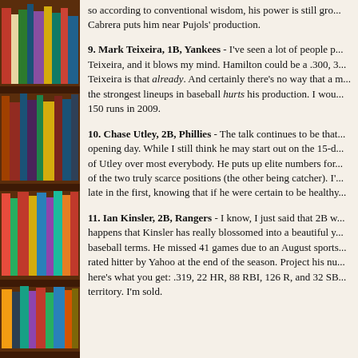[Figure (photo): Bookshelf with colorful books visible on the left side of the page]
so according to conventional wisdom, his power is still gro... Cabrera puts him near Pujols' production.
9. Mark Teixeira, 1B, Yankees - I've seen a lot of people p... Teixeira, and it blows my mind. Hamilton could be a .300, 3... Teixeira is that already. And certainly there's no way that a m... the strongest lineups in baseball hurts his production. I wou... 150 runs in 2009.
10. Chase Utley, 2B, Phillies - The talk continues to be that... opening day. While I still think he may start out on the 15-d... of Utley over most everybody. He puts up elite numbers for... of the two truly scarce positions (the other being catcher). I'... late in the first, knowing that if he were certain to be healthy...
11. Ian Kinsler, 2B, Rangers - I know, I just said that 2B w... happens that Kinsler has really blossomed into a beautiful y... baseball terms. He missed 41 games due to an August sports... rated hitter by Yahoo at the end of the season. Project his nu... here's what you get: .319, 22 HR, 88 RBI, 126 R, and 32 SB... territory. I'm sold.